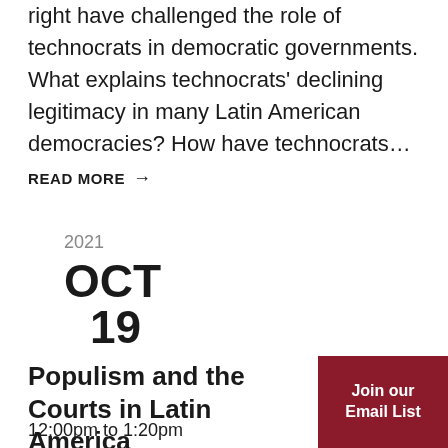right have challenged the role of technocrats in democratic governments. What explains technocrats' declining legitimacy in many Latin American democracies? How have technocrats...
READ MORE →
2021
OCT
19
Populism and the Courts in Latin America
12:00pm to 1:20pm
Join our Email List